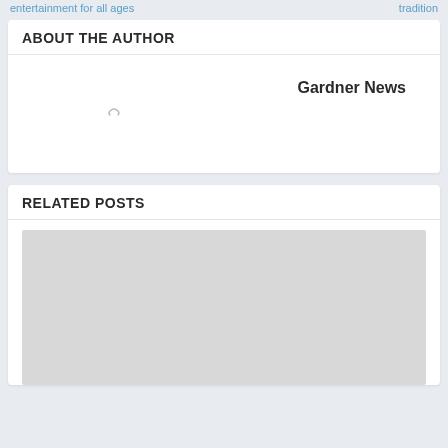entertainment for all ages   tradition
ABOUT THE AUTHOR
Gardner News
[Figure (other): Loading spinner icon]
RELATED POSTS
[Figure (photo): Related post image placeholder (light gray rectangle)]